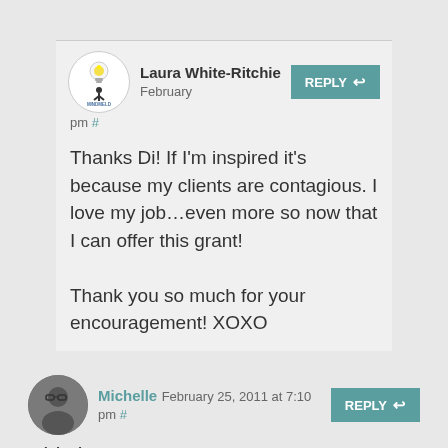Laura White-Ritchie  February ... pm #
Thanks Di! If I'm inspired it's because my clients are contagious. I love my job…even more so now that I can offer this grant!

Thank you so much for your encouragement! XOXO
Michelle  February 25, 2011 at 7:10 pm #
This is AMAZING! I...